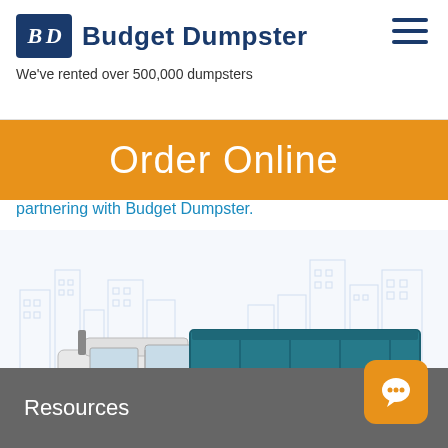[Figure (logo): Budget Dumpster logo with BD monogram in dark blue box and company name]
We've rented over 500,000 dumpsters
Order Online
partnering with Budget Dumpster.
[Figure (photo): White dump truck with teal/green dumpster body on a cityscape blueprint background]
Resources